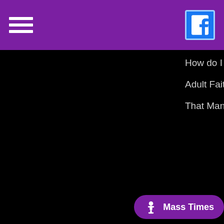Navigation header with hamburger menu and Facebook icon
How do I become Catholic?
Adult Faith Formation
That Man is You
St. Mic...
Sacre...
August...
Cub Sc...
SEARC...
Dismas...
Cursillo...
Communication
Invest In Our Future
Calendar
Bulletin2
Protecting God's Children
Diocese of Portland-Code of Ethics
Formed.org
Photo Albums
Login | pow...
[Figure (other): Mass Times button with chalice icon]